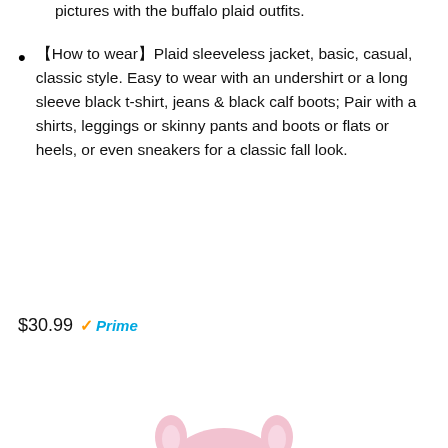pictures with the buffalo plaid outfits.
【How to wear】Plaid sleeveless jacket, basic, casual, classic style. Easy to wear with an undershirt or a long sleeve black t-shirt, jeans & black calf boots; Pair with a shirts, leggings or skinny pants and boots or flats or heels, or even sneakers for a classic fall look.
$30.99 ✔Prime
[Figure (other): Buy on Amazon button with Amazon logo]
[Figure (photo): Pink cat-themed baby hoodie/onesie with cat face hood featuring ears and embroidered cat face with whiskers]